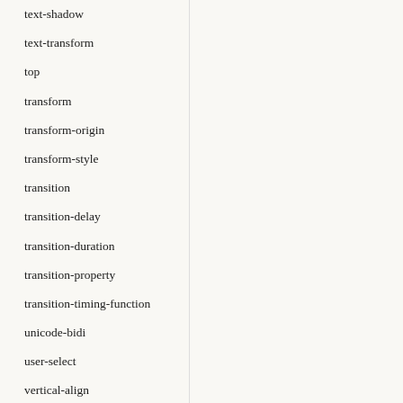text-shadow
text-transform
top
transform
transform-origin
transform-style
transition
transition-delay
transition-duration
transition-property
transition-timing-function
unicode-bidi
user-select
vertical-align
visibility
white-space
width
word-break